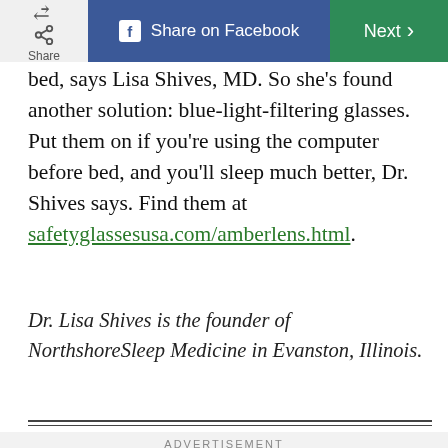Share | Share on Facebook | Next >
bed, says Lisa Shives, MD. So she's found another solution: blue-light-filtering glasses. Put them on if you're using the computer before bed, and you'll sleep much better, Dr. Shives says. Find them at safetyglassesusa.com/amberlens.html.
Dr. Lisa Shives is the founder of NorthshoreSleep Medicine in Evanston, Illinois.
ADVERTISEMENT
[Figure (photo): Advertisement image showing a person, partially visible on the right side with colorful clothing tones of orange/teal.]